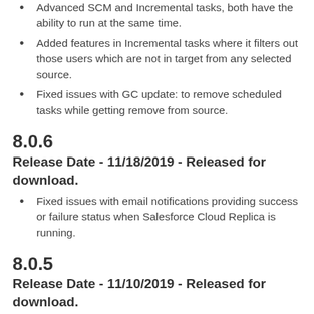Advanced SCM and Incremental tasks, both have the ability to run at the same time.
Added features in Incremental tasks where it filters out those users which are not in target from any selected source.
Fixed issues with GC update: to remove scheduled tasks while getting remove from source.
8.0.6
Release Date - 11/18/2019 - Released for download.
Fixed issues with email notifications providing success or failure status when Salesforce Cloud Replica is running.
8.0.5
Release Date - 11/10/2019 - Released for download.